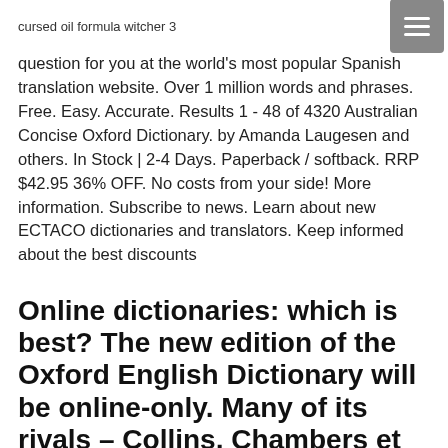cursed oil formula witcher 3
question for you at the world's most popular Spanish translation website. Over 1 million words and phrases. Free. Easy. Accurate. Results 1 - 48 of 4320 Australian Concise Oxford Dictionary. by Amanda Laugesen and others. In Stock | 2-4 Days. Paperback / softback. RRP $42.95 36% OFF. No costs from your side! More information. Subscribe to news. Learn about new ECTACO dictionaries and translators. Keep informed about the best discounts
Online dictionaries: which is best? The new edition of the Oxford English Dictionary will be online-only. Many of its rivals – Collins, Chambers et al - have already launched free web